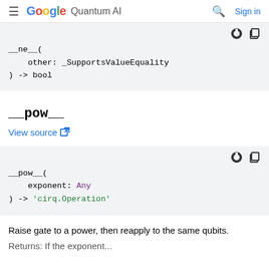Google Quantum AI  Sign in
[Figure (screenshot): Code block showing __ne__ function signature: __ne__(other: _SupportsValueEquality) -> bool]
__pow__
View source
[Figure (screenshot): Code block showing __pow__ function signature: __pow__(exponent: Any) -> 'cirq.Operation']
Raise gate to a power, then reapply to the same qubits.
Returns: If the exponent...